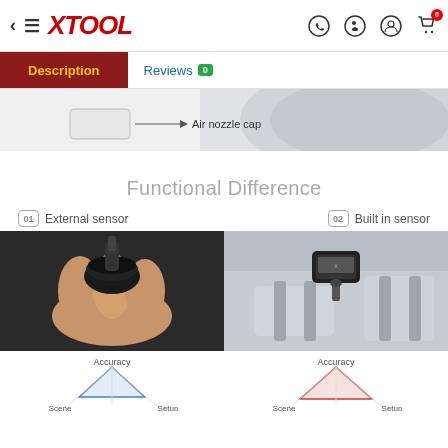XTOOL — Navigation bar with back arrow, menu, logo, WhatsApp, Skype, account, and cart icons
Description | Reviews 0
[Figure (photo): Partial wheel/rim image with label pointing to 'Air nozzle cap']
Functional Difference
01 External sensor
02 Built in sensor
[Figure (photo): Hand holding a small black external TPMS sensor cap on a valve stem]
[Figure (photo): Built-in TPMS sensor mounted inside a wheel rim]
[Figure (radar-chart): Radar chart for External sensor showing Accuracy, Scene, and Setup script axes with blue line]
[Figure (radar-chart): Radar chart for Built-in sensor showing Accuracy, Scene, and Setup script axes with red line]